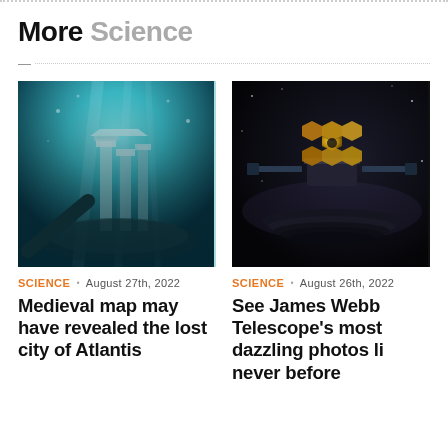More Science
[Figure (photo): Underwater ruins of ancient columns with blue-green light filtering through water, resembling sunken ancient city]
SCIENCE · August 27th, 2022
Medieval map may have revealed the lost city of Atlantis
[Figure (photo): James Webb Space Telescope with golden hexagonal mirror segments against dark space background]
SCIENCE · August 26th, 2022
See James Webb Telescope's most dazzling photos like never before